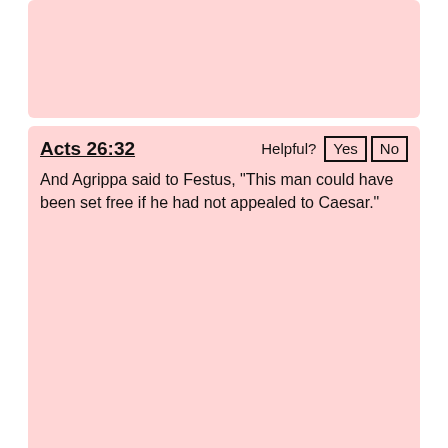[Figure (screenshot): Pink card with no visible text content (top of card cut off)]
Acts 26:32
Helpful? Yes No
And Agrippa said to Festus, “This man could have been set free if he had not appealed to Caesar.”
Acts 25:22-26:11
Helpful? Yes No
Then Agrippa said to Festus, “I would like to hear the man myself.” “Tomorrow,” said he, “you will hear him.” So on the next day Agrippa and Bernice came with great pomp, and they entered the audience hall